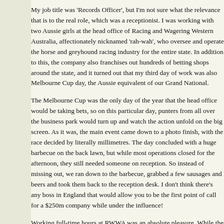My job title was 'Records Officer', but I'm not sure what the relevance that is to the real role, which was a receptionist. I was working with two Aussie girls at the head office of Racing and Wagering Western Australia, affectionately nicknamed 'rah-wah', who oversee and operate the horse and greyhound racing industry for the entire state. In addition to this, the company also franchises out hundreds of betting shops around the state, and it turned out that my third day of work was also Melbourne Cup day, the Aussie equivalent of our Grand National.
The Melbourne Cup was the only day of the year that the head office would be taking bets, so on this particular day, punters from all over the business park would turn up and watch the action unfold on the big screen. As it was, the main event came down to a photo finish, with the race decided by literally millimetres. The day concluded with a huge barbecue on the back lawn, but while most operations closed for the afternoon, they still needed someone on reception. So instead of missing out, we ran down to the barbecue, grabbed a few sausages and beers and took them back to the reception desk. I don't think there's any boss in England that would allow you to be the first point of call for a $250m company while under the influence!
Working full-time hours at RWWA was an absolute pleasure. While the work itself was sometimes hectic, it was nice to be able to relax occasionally and share stories with the girls. Neither of them had eve...